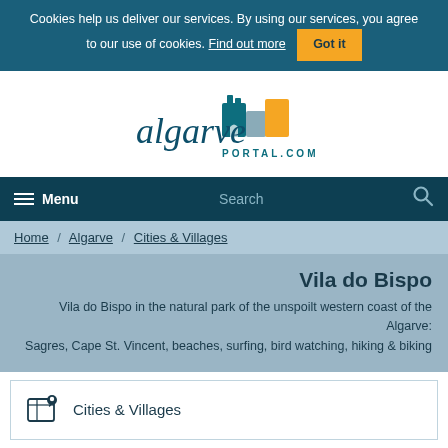Cookies help us deliver our services. By using our services, you agree to our use of cookies. Find out more  Got it
[Figure (logo): Algarve Portal.com logo with stylized building silhouettes in teal, grey and yellow]
≡ Menu  Search 🔍
Home / Algarve / Cities & Villages
Vila do Bispo
Vila do Bispo in the natural park of the unspoilt western coast of the Algarve: Sagres, Cape St. Vincent, beaches, surfing, bird watching, hiking & biking
Cities & Villages
Vila do Bispo, Costa Vicentina